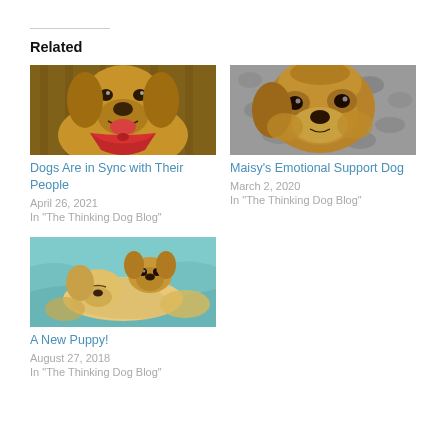Related
[Figure (photo): Golden retriever dog wearing a red bandana, mouth open, tongue out, inside a wooden structure]
Dogs Are in Sync with Their People
April 26, 2021
In "The Thinking Dog Blog"
[Figure (photo): Close-up of a golden/reddish dog's face looking down, on a gravelly surface]
Maisy's Emotional Support Dog
March 2, 2020
In "The Thinking Dog Blog"
[Figure (photo): A light golden/cream colored puppy curled up sleeping on a blue blanket or pad]
A New Puppy!
August 27, 2018
In "The Thinking Dog Blog"